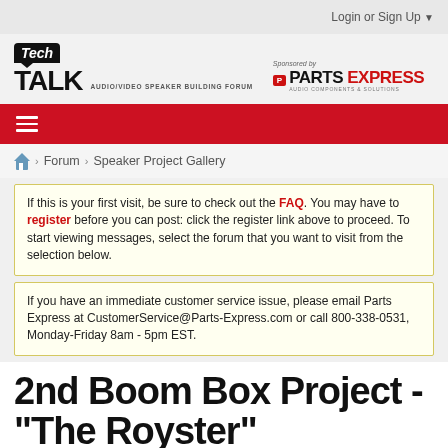Login or Sign Up ▼
[Figure (logo): Tech Talk Audio/Video Speaker Building Forum logo, sponsored by Parts Express]
≡ (navigation hamburger menu)
Forum > Speaker Project Gallery
If this is your first visit, be sure to check out the FAQ. You may have to register before you can post: click the register link above to proceed. To start viewing messages, select the forum that you want to visit from the selection below.
If you have an immediate customer service issue, please email Parts Express at CustomerService@Parts-Express.com or call 800-338-0531, Monday-Friday 8am - 5pm EST.
2nd Boom Box Project - "The Royster"